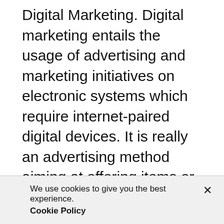Digital Marketing. Digital marketing entails the usage of advertising and marketing initiatives on electronic systems which require internet-paired digital devices. It is really an advertising method aiming at offering items or services to a targeted audience, with the help of online platforms and also electronic devices - such as smart devices as well as computers. This is where electronic advertising comes in and proves to be helpful. Know regarding some of the leading reasons
We use cookies to give you the best experience. Cookie Policy